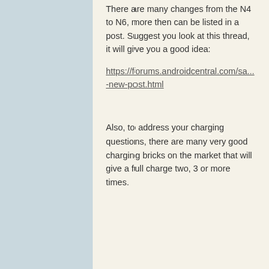There are many changes from the N4 to N6, more then can be listed in a post. Suggest you look at this thread, it will give you a good idea:
https://forums.androidcentral.com/sa...-new-post.html
Also, to address your charging questions, there are many very good charging bricks on the market that will give a full charge two, 3 or more times.
09-15-2017 04:56 PM
Exactly what I was going to say. Ones that even fit in your back pocket.
09-15-2017 04:56 PM
[Figure (illustration): Generic user avatar circle with silhouette of a person]
anon(238680)